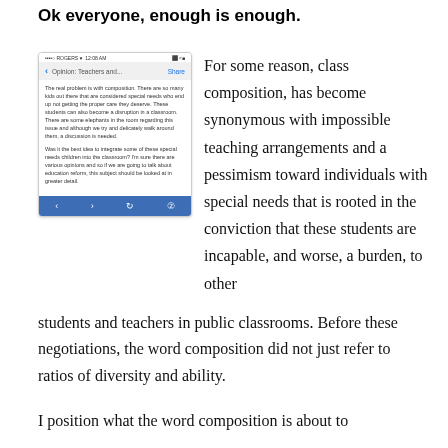Ok everyone, enough is enough.
[Figure (screenshot): Screenshot of a mobile phone displaying a news article opinion piece about special needs students and class composition. The article excerpt reads: 'The real problem is with composition. There are so many kids out there that are considered special needs who end up not getting the proper care they deserve. These students can also become a disruption in a classroom. There are some elephants in the room regarding this issue and although we try and delicately walk around them, a discussion is needed. Was it the best idea to integrate some of these special needs children into the classroom? I'm sure there are various opinions and so if we are going to talk about education reform, this subject should be looked at in greater detail.' The phone nav bar shows 'Opinion: Teachers and... Share' with a blue background.]
For some reason, class composition, has become synonymous with impossible teaching arrangements and a pessimism toward individuals with special needs that is rooted in the conviction that these students are incapable, and worse, a burden, to other students and teachers in public classrooms. Before these negotiations, the word composition did not just refer to ratios of diversity and ability.
I position what the word composition is about to